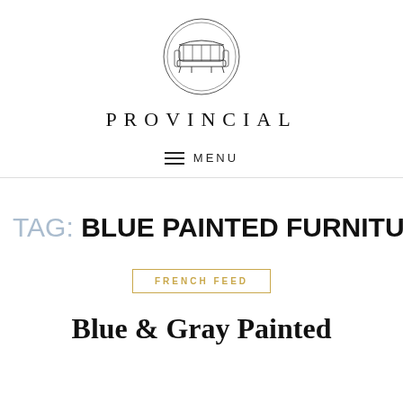[Figure (logo): Circular logo with an illustration of a settee/sofa inside a double-ring circle border]
PROVINCIAL
MENU
TAG: BLUE PAINTED FURNITURE
FRENCH FEED
Blue & Gray Painted